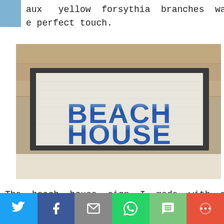aux   yellow  forsythia  branches  was
e perfect touch.
[Figure (photo): A framed wooden sign reading BEACH HOUSE in large blue distressed letters, sitting against a rustic wood plank background.]
The  beach  house  sign  I  made  with  my
Chalk  Couture  products.   I  used  the
[Figure (infographic): Social media share bar with buttons for Twitter, Facebook, Email, WhatsApp, SMS, and More.]